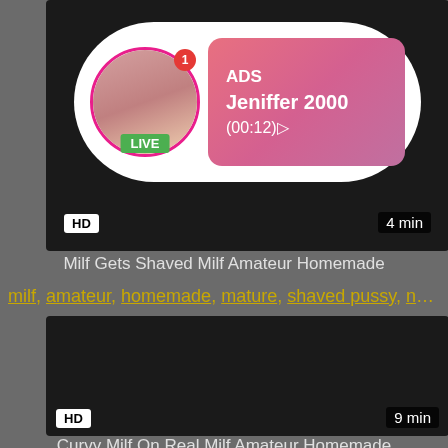[Figure (screenshot): Video thumbnail with advertisement overlay showing a live stream notification for 'Jeniffer 2000' with LIVE and HD badges, 4 min duration]
Milf Gets Shaved Milf Amateur Homemade
milf, amateur, homemade, mature, shaved pussy, naught...
[Figure (screenshot): Dark video thumbnail with HD badge and 9 min duration label]
Curvy Milf On Real Milf Amateur Homemade